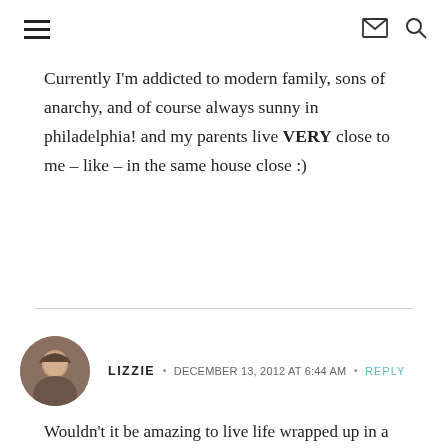[hamburger menu icon] [mail icon] [search icon]
Currently I'm addicted to modern family, sons of anarchy, and of course always sunny in philadelphia! and my parents live VERY close to me – like – in the same house close :)
LIZZIE · DECEMBER 13, 2012 AT 6:44 AM · REPLY
Wouldn't it be amazing to live life wrapped up in a blanket like Brooke always is? Someone carrying you around in a fuzzy blanket all day... the dream.